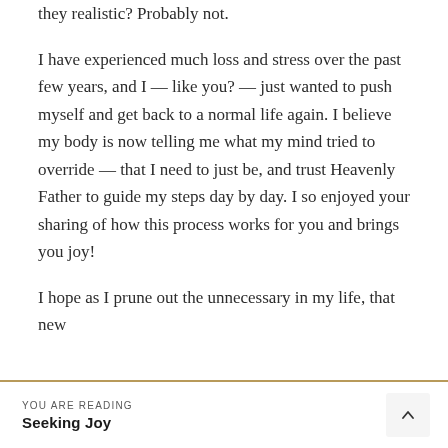they realistic? Probably not.

I have experienced much loss and stress over the past few years, and I — like you? — just wanted to push myself and get back to a normal life again. I believe my body is now telling me what my mind tried to override — that I need to just be, and trust Heavenly Father to guide my steps day by day. I so enjoyed your sharing of how this process works for you and brings you joy!

I hope as I prune out the unnecessary in my life, that new
YOU ARE READING
Seeking Joy